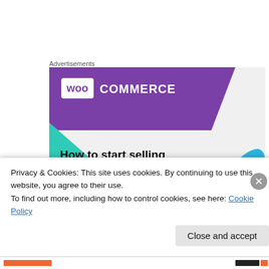Advertisements
[Figure (screenshot): WooCommerce advertisement banner showing WooCommerce logo on purple background with teal and blue triangle shapes and text 'How to start selling']
Venus on July 19, 2014 at 9:29 AM
Privacy & Cookies: This site uses cookies. By continuing to use this website, you agree to their use.
To find out more, including how to control cookies, see here: Cookie Policy
Close and accept